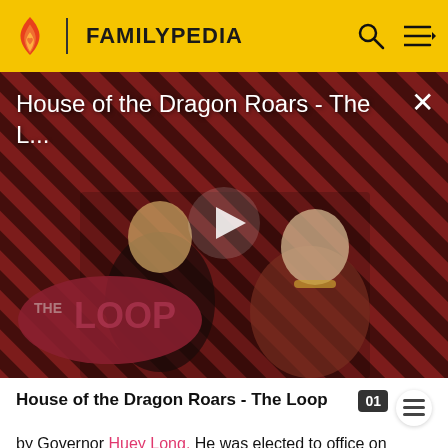FAMILYPEDIA
[Figure (screenshot): Video thumbnail for 'House of the Dragon Roars - The L...' showing two characters against a red diagonal stripe background with a play button overlay and 'THE LOOP' badge]
House of the Dragon Roars - The Loop
by Governor Huey Long. He was elected to office on populist appeal. Though popular for his public works projects, which provided thousands of jobs to people in need, and for his programs in education and increased